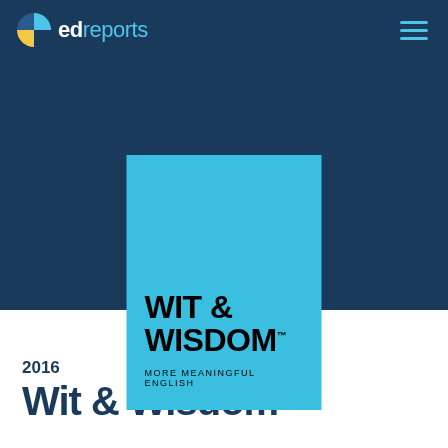edreports
[Figure (logo): Wit & Wisdom — More Meaningful English book cover in cyan/light blue with bold black title text]
2016
Wit & Wisdom